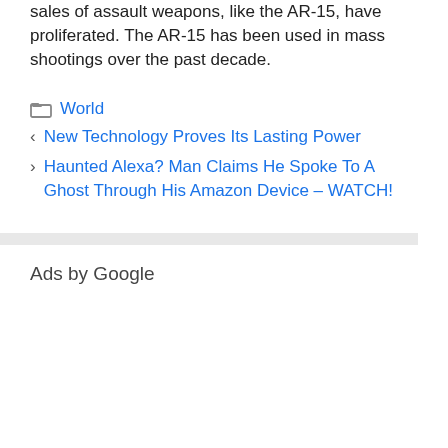sales of assault weapons, like the AR-15, have proliferated. The AR-15 has been used in mass shootings over the past decade.
World
New Technology Proves Its Lasting Power
Haunted Alexa? Man Claims He Spoke To A Ghost Through His Amazon Device – WATCH!
Ads by Google